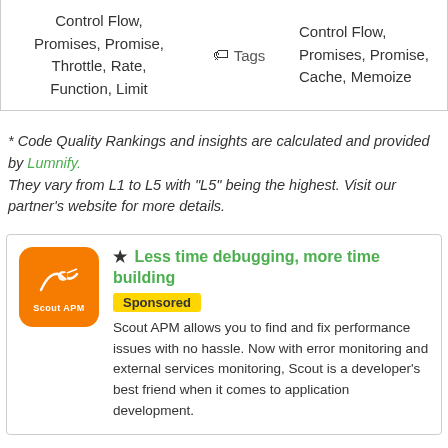|  | Tags |  |
| --- | --- | --- |
| Control Flow, Promises, Promise, Throttle, Rate, Function, Limit | Tags | Control Flow, Promises, Promise, Cache, Memoize |
* Code Quality Rankings and insights are calculated and provided by Lumnify. They vary from L1 to L5 with "L5" being the highest. Visit our partner's website for more details.
Less time debugging, more time building
Sponsored
Scout APM allows you to find and fix performance issues with no hassle. Now with error monitoring and external services monitoring, Scout is a developer's best friend when it comes to application development.